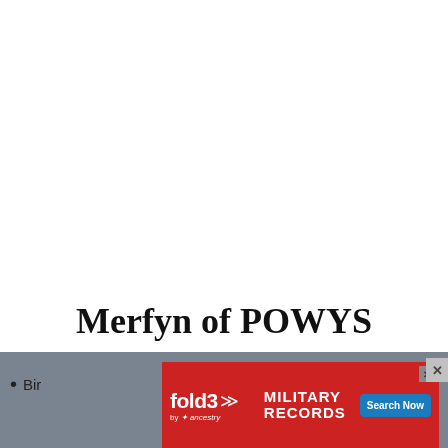Merfyn of POWYS
Bir
[Figure (screenshot): fold3 by Ancestry advertisement banner for Military Records with Search Now button]